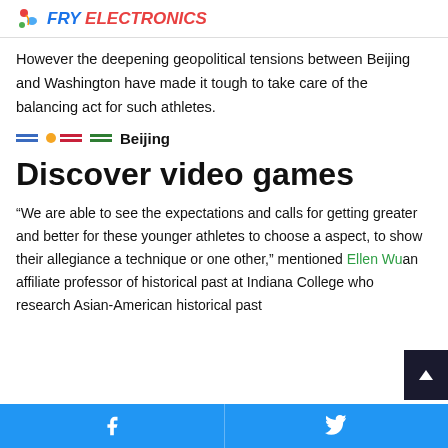FRY ELECTRONICS
However the deepening geopolitical tensions between Beijing and Washington have made it tough to take care of the balancing act for such athletes.
[Figure (logo): Beijing tag with colored stripes, dot, and bold text reading Beijing]
Discover video games
“We are able to see the expectations and calls for getting greater and better for these younger athletes to choose a aspect, to show their allegiance a technique or one other,” mentioned Ellen Wu an affiliate professor of historical past at Indiana College who research Asian-American historical past
Facebook share | Twitter share